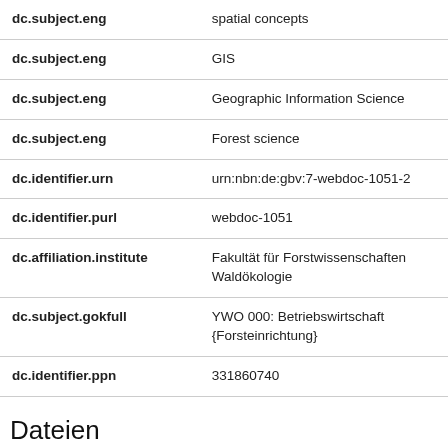| Field | Value |
| --- | --- |
| dc.subject.eng | spatial concepts |
| dc.subject.eng | GIS |
| dc.subject.eng | Geographic Information Science |
| dc.subject.eng | Forest science |
| dc.identifier.urn | urn:nbn:de:gbv:7-webdoc-1051-2 |
| dc.identifier.purl | webdoc-1051 |
| dc.affiliation.institute | Fakultät für Forstwissenschaften Waldökologie |
| dc.subject.gokfull | YWO 000: Betriebswirtschaft {Forsteinrichtung} |
| dc.identifier.ppn | 331860740 |
Dateien